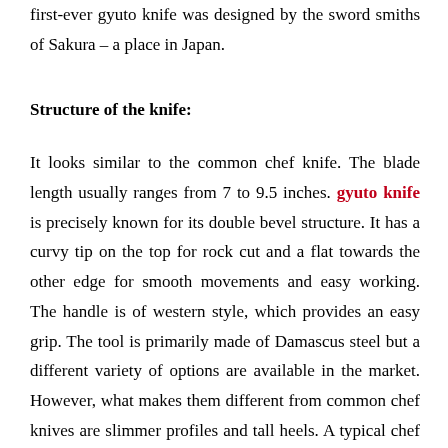first-ever gyuto knife was designed by the sword smiths of Sakura – a place in Japan.
Structure of the knife:
It looks similar to the common chef knife. The blade length usually ranges from 7 to 9.5 inches. gyuto knife is precisely known for its double bevel structure. It has a curvy tip on the top for rock cut and a flat towards the other edge for smooth movements and easy working. The handle is of western style, which provides an easy grip. The tool is primarily made of Damascus steel but a different variety of options are available in the market. However, what makes them different from common chef knives are slimmer profiles and tall heels. A typical chef knife has a blade of the length of 8